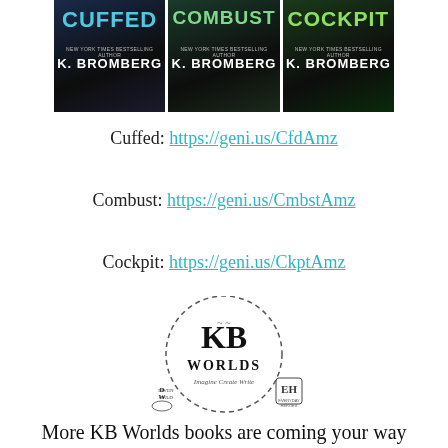[Figure (illustration): Three book covers side by side: Cuffed, Combust, and Cockpit, all by K. Bromberg (New York Times Bestselling Author)]
Cuffed: https://geni.us/CfdAmz
Combust: https://geni.us/CmbstAmz
Cockpit: https://geni.us/CkptAmz
[Figure (logo): KB Worlds logo with dashed circle, showing Driven World, Worlds, and Everyday Heroes sub-logos, with tagline Imagine, Create, Write]
More KB Worlds books are coming your way